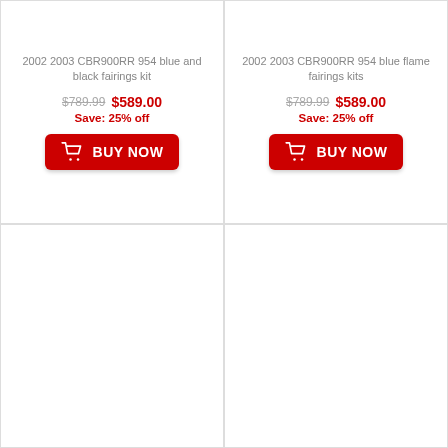2002 2003 CBR900RR 954 blue and black fairings kit
$789.99 $589.00 Save: 25% off
BUY NOW
2002 2003 CBR900RR 954 blue flame fairings kits
$789.99 $589.00 Save: 25% off
BUY NOW